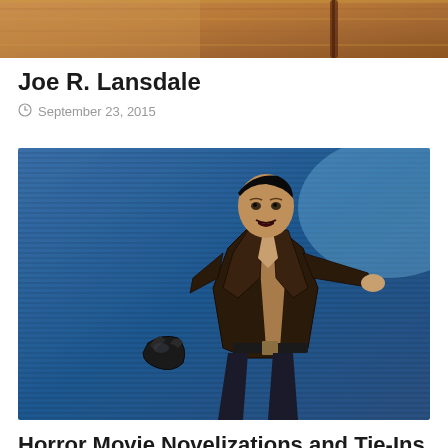[Figure (photo): Partial image at top of page, warm brown/tan tones, appears to be a book cover detail]
Joe R. Lansdale
September 23, 2015
[Figure (illustration): Blue illustrated book cover showing a man in a leather jacket in an action pose, with a dark creature or object in the lower left. Pulp horror/action art style.]
Horror Movie Novelizations and Tie-Ins